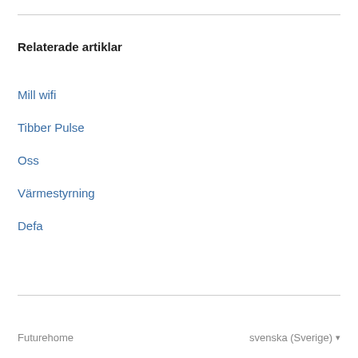Relaterade artiklar
Mill wifi
Tibber Pulse
Oss
Värmestyrning
Defa
Futurehome   svenska (Sverige)